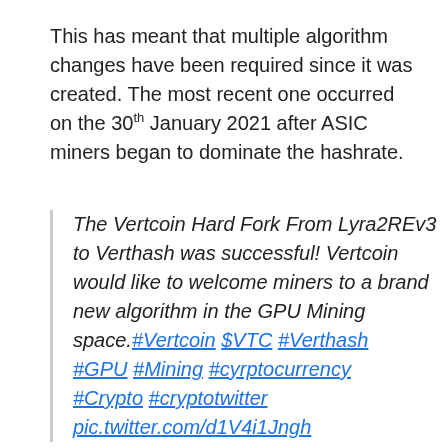This has meant that multiple algorithm changes have been required since it was created. The most recent one occurred on the 30th January 2021 after ASIC miners began to dominate the hashrate.
The Vertcoin Hard Fork From Lyra2REv3 to Verthash was successful! Vertcoin would like to welcome miners to a brand new algorithm in the GPU Mining space.#Vertcoin $VTC #Verthash #GPU #Mining #cyrptocurrency #Crypto #cryptotwitter pic.twitter.com/d1V4i1Jngh